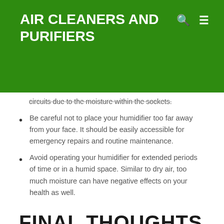AIR CLEANERS AND PURIFIERS
circuits due to the moisture within the sockets.
Be careful not to place your humidifier too far away from your face. It should be easily accessible for emergency repairs and routine maintenance.
Avoid operating your humidifier for extended periods of time or in a humid space. Similar to dry air, too much moisture can have negative effects on your health as well.
FINAL THOUGHTS